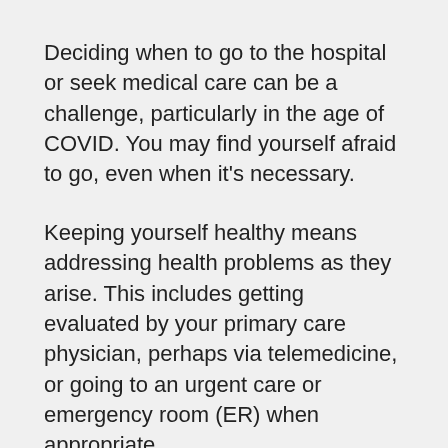Deciding when to go to the hospital or seek medical care can be a challenge, particularly in the age of COVID. You may find yourself afraid to go, even when it's necessary.
Keeping yourself healthy means addressing health problems as they arise. This includes getting evaluated by your primary care physician, perhaps via telemedicine, or going to an urgent care or emergency room (ER) when appropriate.
Yet recognizing when it is appropriate can be difficult. It is important to know the symptoms of a medical emergency.
When it comes to COVID, understanding what types of services are available for patients with COVID symptoms in an ER and how to recognize